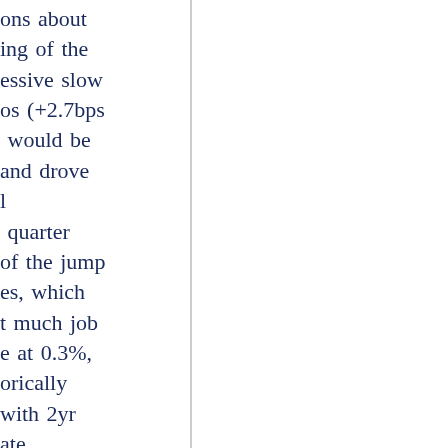ons about ing of the essive slow os (+2.7bps would be and drove l quarter of the jump es, which t much job e at 0.3%, orically with 2yr ate ord Stream verted the week n electricity gy crisis CB over the osest to